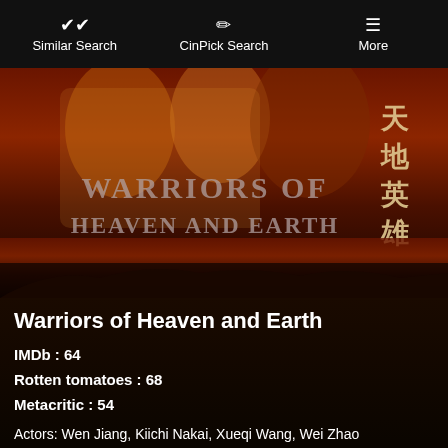Similar Search | CinPick Search | More
[Figure (photo): Movie poster for Warriors of Heaven and Earth showing warriors/fighters with Chinese characters 天地英雄 on the right side and the title text 'WARRIORS OF HEAVEN AND EARTH' overlaid]
Warriors of Heaven and Earth
IMDb : 64
Rotten tomatoes : 68
Metacritic : 54
Actors: Wen Jiang, Kiichi Nakai, Xueqi Wang, Wei Zhao